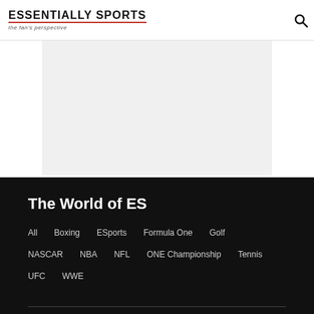ESSENTIALLY SPORTS – the fan's perspective
[Figure (other): Advertisement placeholder area (gray rectangle)]
The World of ES
All
Boxing
ESports
Formula One
Golf
NASCAR
NBA
NFL
ONE Championship
Tennis
UFC
WWE